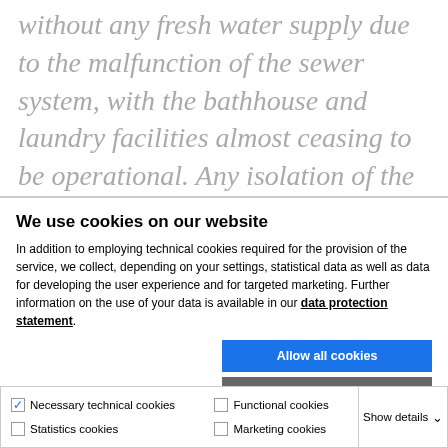without any fresh water supply due to the malfunction of the sewer system, with the bathhouse and laundry facilities almost ceasing to be operational. Any isolation of the sick was simply impossible, because the cells were overcrowded, whereas the small
We use cookies on our website
In addition to employing technical cookies required for the provision of the service, we collect, depending on your settings, statistical data as well as data for developing the user experience and for targeted marketing. Further information on the use of your data is available in our data protection statement.
Allow all cookies
Allow selection
Use necessary cookies only
Necessary technical cookies  Functional cookies  Statistics cookies  Marketing cookies  Show details